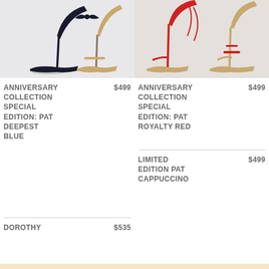[Figure (photo): Photo of dark navy blue high heel shoes with bow ankle straps on white background]
[Figure (photo): Photo of red and gold strappy high heel shoes on light background]
ANNIVERSARY COLLECTION SPECIAL EDITION: PAT DEEPEST BLUE $499
ANNIVERSARY COLLECTION SPECIAL EDITION: PAT ROYALTY RED $499
LIMITED EDITION PAT CAPPUCCINO $499
DOROTHY $535